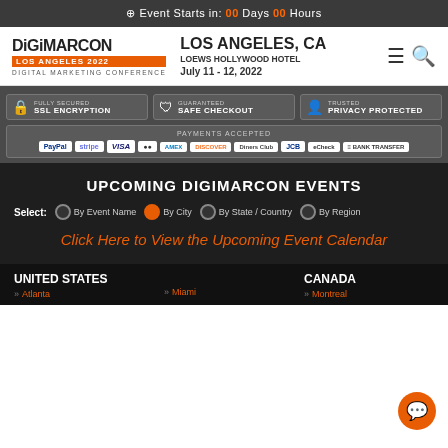Event Starts in: 00 Days 00 Hours
[Figure (logo): DigiMarCon Los Angeles 2022 - Digital Marketing Conference logo]
LOS ANGELES, CA
LOEWS HOLLYWOOD HOTEL
July 11 - 12, 2022
FULLY SECURED SSL ENCRYPTION | GUARANTEED SAFE CHECKOUT | TRUSTED PRIVACY PROTECTED
PAYMENTS ACCEPTED: PayPal, Stripe, Visa, Mastercard, American Express, Discover, Diners Club, JCB, eCheck, Bank Transfer
UPCOMING DIGIMARCON EVENTS
Select: By Event Name | By City | By State / Country | By Region
Click Here to View the Upcoming Event Calendar
UNITED STATES
CANADA
Atlanta
Miami
Montreal